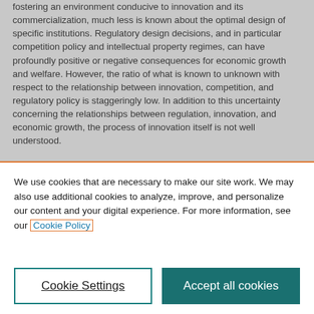fostering an environment conducive to innovation and its commercialization, much less is known about the optimal design of specific institutions. Regulatory design decisions, and in particular competition policy and intellectual property regimes, can have profoundly positive or negative consequences for economic growth and welfare. However, the ratio of what is known to unknown with respect to the relationship between innovation, competition, and regulatory policy is staggeringly low. In addition to this uncertainty concerning the relationships between regulation, innovation, and economic growth, the process of innovation itself is not well understood.
We use cookies that are necessary to make our site work. We may also use additional cookies to analyze, improve, and personalize our content and your digital experience. For more information, see our Cookie Policy
Cookie Settings
Accept all cookies